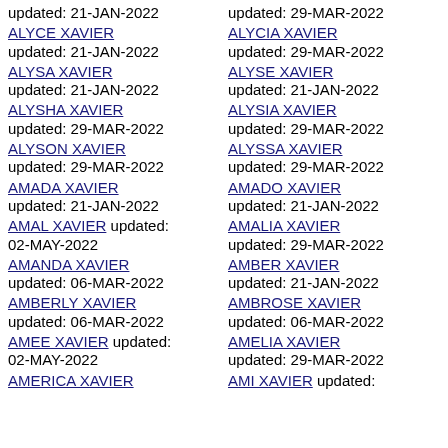updated: 21-JAN-2022
ALYCE XAVIER
updated: 29-MAR-2022
ALYCIA XAVIER
updated: 21-JAN-2022
ALYSA XAVIER
updated: 29-MAR-2022
ALYSE XAVIER
updated: 21-JAN-2022
ALYSHA XAVIER
updated: 21-JAN-2022
ALYSIA XAVIER
updated: 29-MAR-2022
ALYSON XAVIER
updated: 29-MAR-2022
ALYSSA XAVIER
updated: 29-MAR-2022
AMADA XAVIER
updated: 21-JAN-2022
AMADO XAVIER
AMAL XAVIER updated: 02-MAY-2022
updated: 21-JAN-2022
AMALIA XAVIER updated: 29-MAR-2022
updated: 21-JAN-2022
AMANDA XAVIER
updated: 06-MAR-2022
AMBER XAVIER updated: 21-JAN-2022
updated: 06-MAR-2022
AMBERLY XAVIER
updated: 06-MAR-2022
AMBROSE XAVIER updated: 06-MAR-2022
AMEE XAVIER updated: 02-MAY-2022
AMELIA XAVIER updated: 29-MAR-2022
AMERICA XAVIER
AMI XAVIER updated: